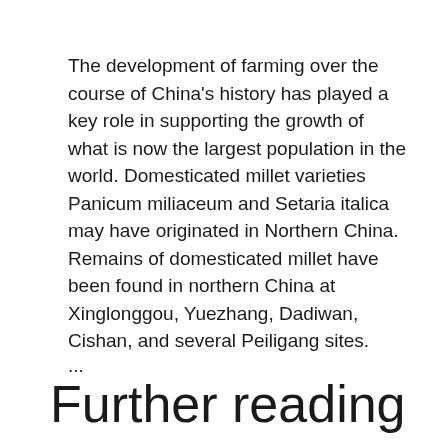The development of farming over the course of China's history has played a key role in supporting the growth of what is now the largest population in the world. Domesticated millet varieties Panicum miliaceum and Setaria italica may have originated in Northern China. Remains of domesticated millet have been found in northern China at Xinglonggou, Yuezhang, Dadiwan, Cishan, and several Peiligang sites.
...
Further reading